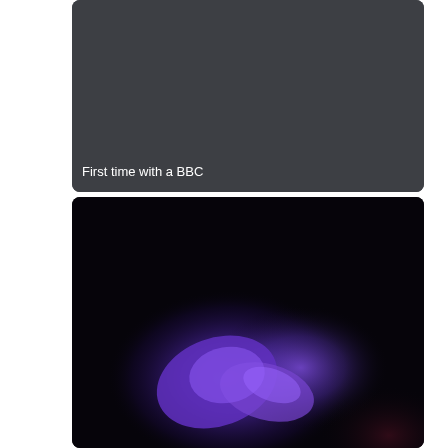[Figure (photo): Dark gray rectangular card with rounded corners. White text at bottom-left reads 'First time with a BBC'.]
First time with a BBC
[Figure (photo): Dark photographic image with a glowing purple/blue abstract shape or figure visible against a very dark black background, with a slight reddish-purple glow in the lower right corner.]